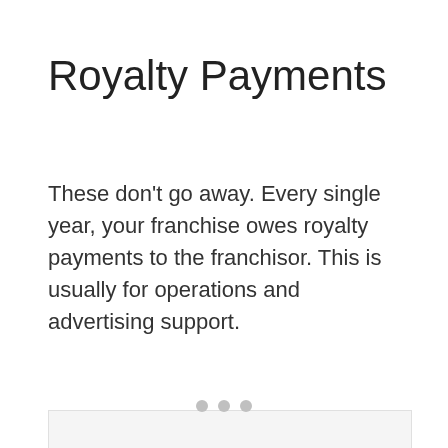Royalty Payments
These don't go away. Every single year, your franchise owes royalty payments to the franchisor. This is usually for operations and advertising support.
[Figure (other): Advertisement placeholder box with centered text 'ADVERTISEMENT' and three dots below]